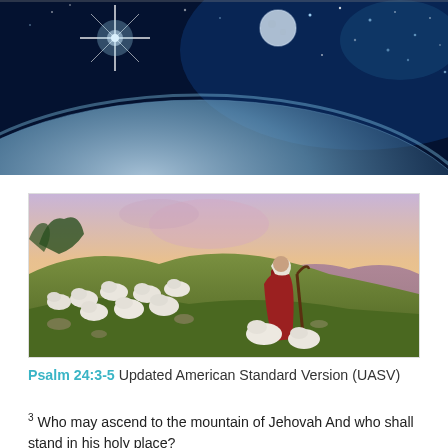[Figure (photo): Space/astronomical image showing a bright star shining over the curve of Earth or a planet, with a glowing moon and starry blue sky in the background.]
[Figure (illustration): Painting of a shepherd (Jesus) in red and white robes walking with a flock of sheep on a green hillside, with a warm orange and pink sunset sky and rolling hills in the background.]
Psalm 24:3-5 Updated American Standard Version (UASV)
3 Who may ascend to the mountain of Jehovah And who shall stand in his holy place?